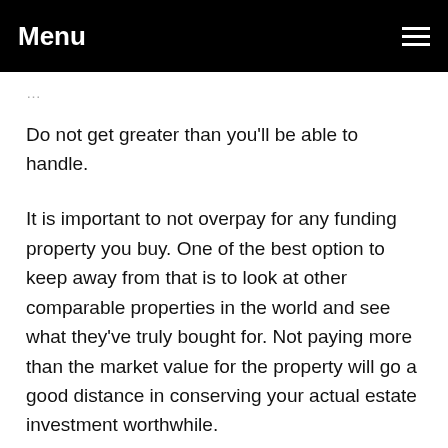Menu
…Do not get greater than you'll be able to handle.
It is important to not overpay for any funding property you buy. One of the best option to keep away from that is to look at other comparable properties in the world and see what they've truly bought for. Not paying more than the market value for the property will go a good distance in conserving your actual estate investment worthwhile.
Should Investing In Actual Estate: What It's best to Know to accomplice with somebody in an investment, take a non-recourse loans as an choice. These loans offer good safety